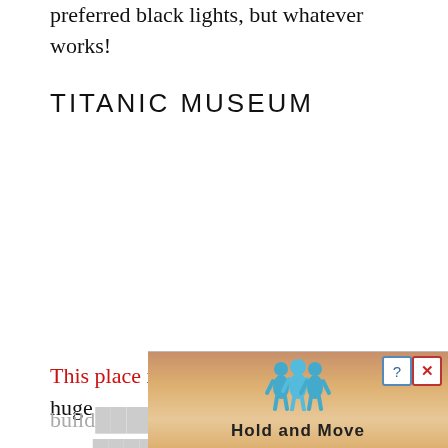preferred black lights, but whatever works!
TITANIC MUSEUM
This place is very impressive. As if a huge
build... ...n't enou... ...at's
[Figure (screenshot): Advertisement overlay showing 'Hold and Move' with blue cartoon figures on a wooden-texture background, with close (X) and help (?) buttons in top right corner.]